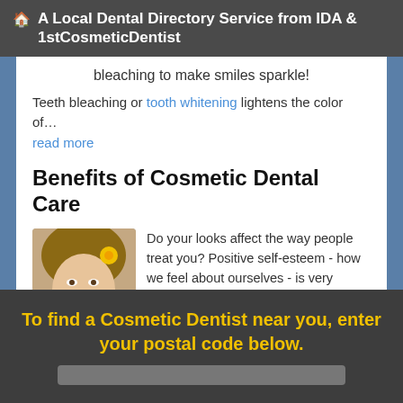A Local Dental Directory Service from IDA & 1stCosmeticDentist
bleaching to make smiles sparkle!
Teeth bleaching or tooth whitening lightens the color of…
read more
Benefits of Cosmetic Dental Care
[Figure (photo): Smiling woman with flower in hair]
Do your looks affect the way people treat you? Positive self-esteem - how we feel about ourselves - is very important to a healthy personality, to happiness, to the development of a positive attitude about life, and to achievement in the direction we choose.
It is… read more
To find a Cosmetic Dentist near you, enter your postal code below.